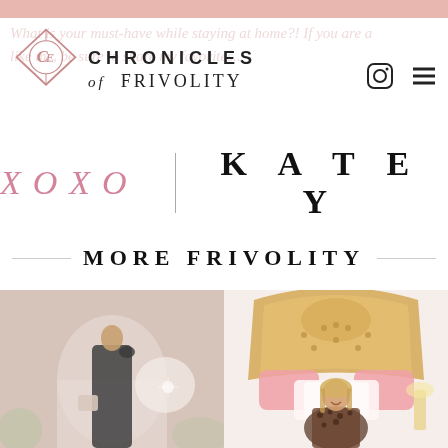Chronicles of Frivolity
What is your must-have while staying at home?! If you are a...like me, be sure to share my favorites...
XOXO | KATEY
MORE FRIVOLITY
[Figure (photo): Woman in dark dress holding a handbag in an architectural space]
[Figure (photo): Woman in leopard off-shoulder dress sitting in front of an ornate gold headboard with pink pillows]